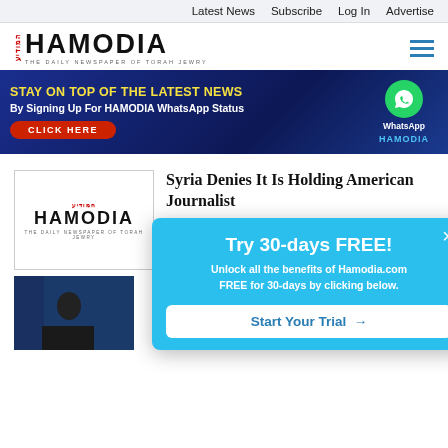Latest News   Subscribe   Log In   Advertise
[Figure (logo): Hamodia logo — THE DAILY NEWSPAPER OF TORAH JEWRY]
[Figure (infographic): Banner ad: STAY ON TOP OF THE LATEST NEWS By Signing Up For HAMODIA WhatsApp Status — CLICK HERE]
[Figure (logo): Hamodia thumbnail logo for article]
Syria Denies It Is Holding American Journalist
08/17/2022
[Figure (photo): Person in dark suit against blue backdrop]
Try 30-days FREE! Unlock all the benefits of Hamodia.com FREE for 30-days by clicking below. Start Your Trial →